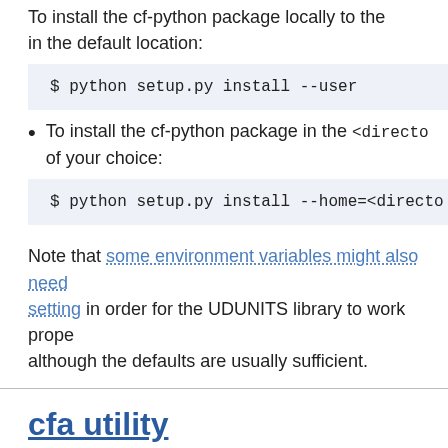To install the cf-python package locally to the in the default location:
$ python setup.py install --user
To install the cf-python package in the <directo of your choice:
$ python setup.py install --home=<directo
Note that some environment variables might also need setting in order for the UDUNITS library to work properly, although the defaults are usually sufficient.
cfa utility
During installation the cfa command line utility is also installed, which